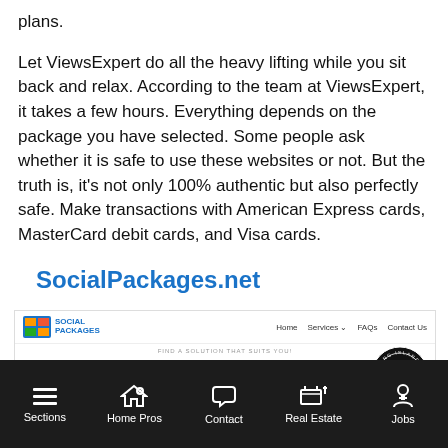plans.
Let ViewsExpert do all the heavy lifting while you sit back and relax. According to the team at ViewsExpert, it takes a few hours. Everything depends on the package you have selected. Some people ask whether it is safe to use these websites or not. But the truth is, it's not only 100% authentic but also perfectly safe. Make transactions with American Express cards, MasterCard debit cards, and Visa cards.
SocialPackages.net
[Figure (screenshot): Screenshot of SocialPackages.net website showing navigation bar with Home, Services, FAQs, Contact Us links, a logo, and a hero section with text 'Buy Facebook Page L...' and a Long Island Press badge overlay]
Sections  Home Pros  Contact  Real Estate  Jobs